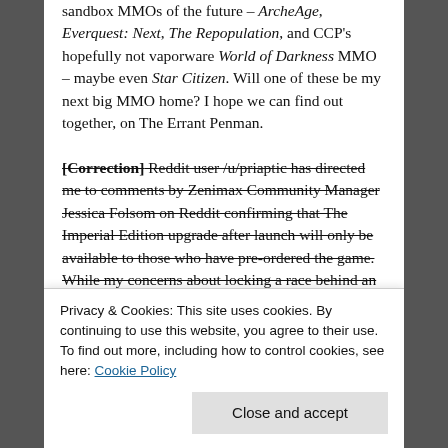sandbox MMOs of the future – ArcheAge, Everquest: Next, The Repopulation, and CCP's hopefully not vaporware World of Darkness MMO – maybe even Star Citizen. Will one of these be my next big MMO home? I hope we can find out together, on The Errant Penman.
[Correction] Reddit user /u/priaptic has directed me to comments by Zenimax Community Manager Jessica Folsom on Reddit confirming that The Imperial Edition upgrade after launch will only be available to those who have pre-ordered the game. While my concerns about locking a race behind an account upgrade remain, this does make the race exclusivity a lot more palatable in this respect, as those who...
Privacy & Cookies: This site uses cookies. By continuing to use this website, you agree to their use.
To find out more, including how to control cookies, see here: Cookie Policy
Close and accept